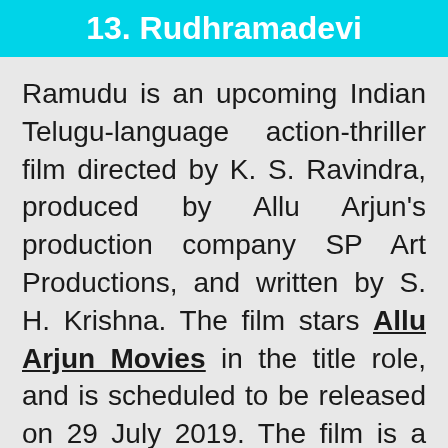13. Rudhramadevi
Ramudu is an upcoming Indian Telugu-language action-thriller film directed by K. S. Ravindra, produced by Allu Arjun's production company SP Art Productions, and written by S. H. Krishna. The film stars Allu Arjun Movies in the title role, and is scheduled to be released on 29 July 2019. The film is a remake of the Malayalam film